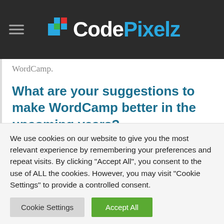CodePixelz
WordCamp.
What are your suggestions to make WordCamp better in the upcoming years?
The main motive for WordCamp is to
We use cookies on our website to give you the most relevant experience by remembering your preferences and repeat visits. By clicking "Accept All", you consent to the use of ALL the cookies. However, you may visit "Cookie Settings" to provide a controlled consent.
Cookie Settings  Accept All